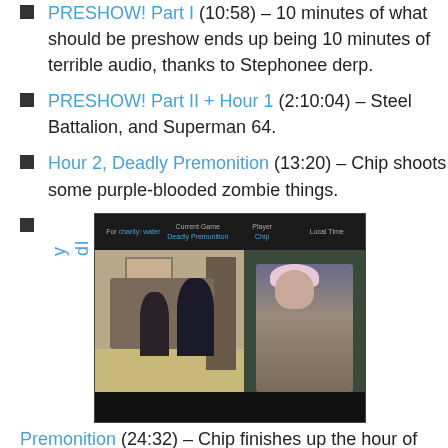PRESHOW! Part I (10:58) – 10 minutes of what should be preshow ends up being 10 minutes of terrible audio, thanks to Stephonee derp.
PRESHOW! Part II + Hour 1 (2:10:04) – Steel Battalion, and Superman 64.
Hour 2, Deadly Premonition (13:20) – Chip shoots some purple-blooded zombie things.
Hour 2-B, Deadly Premonition (24:32) – Chip finishes up the hour of
[Figure (screenshot): Screenshot of a gaming livestream interface showing a HUD bar at top with 'For charity: water', 'Current Game: Deadly Premonition', 'Player: Chip', 'Local Time' fields. Below left shows webcam feed of people sitting in living room. Right shows video game character with pink/blonde hair.]